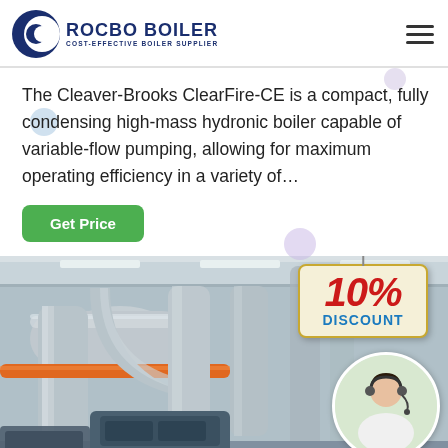[Figure (logo): Rocbo Boiler logo with crescent C icon and text 'ROCBO BOILER / COST-EFFECTIVE BOILER SUPPLIER' in dark blue]
The Cleaver-Brooks ClearFire-CE is a compact, fully condensing high-mass hydronic boiler capable of variable-flow pumping, allowing for maximum operating efficiency in a variety of…
[Figure (photo): Industrial boiler room showing large silver insulated pipes and ductwork with a 10% DISCOUNT badge overlay and a customer service representative in a circle, with '7X24 Online' text at the bottom right]